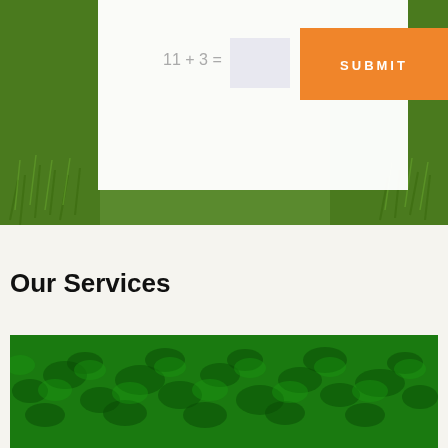[Figure (photo): Green grass/lawn close-up photo in background of top section]
11 + 3 =
SUBMIT
Our Services
[Figure (photo): Dense green grass/lawn close-up photo in bottom section]